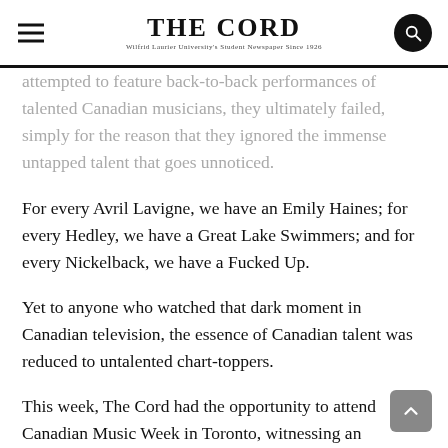THE CORD
attempted to feature back-to-back performances of talented Canadian musicians, they ultimately failed, simply for the reason that they ignored the immense untapped talent that goes unnoticed.
For every Avril Lavigne, we have an Emily Haines; for every Hedley, we have a Great Lake Swimmers; and for every Nickelback, we have a Fucked Up.
Yet to anyone who watched that dark moment in Canadian television, the essence of Canadian talent was reduced to untalented chart-toppers.
This week, The Cord had the opportunity to attend Canadian Music Week in Toronto, witnessing an